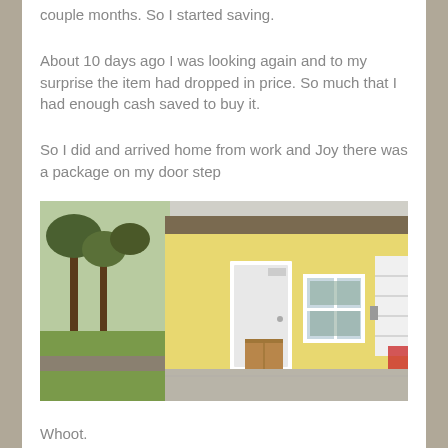couple months. So I started saving.
About 10 days ago I was looking again and to my surprise the item had dropped in price. So much that I had enough cash saved to buy it.
So I did and arrived home from work and Joy there was a package on my door step
[Figure (photo): Photo of a small yellow building exterior with a white front door, a package/cardboard box leaning against the door, a window with white trim, and a white garage door on the right. Trees and green lawn visible on the left side.]
Whoot.